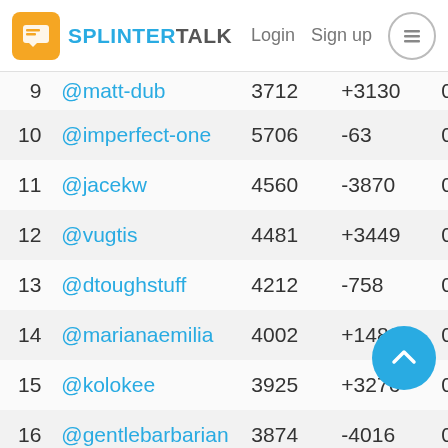SplinterTalk — Login  Sign up
| # | Username | Score | Change | Col5 | Col6 |
| --- | --- | --- | --- | --- | --- |
| 9 | @matt-dub | 3712 | +3130 | 0 | 0 |
| 10 | @imperfect-one | 5706 | -63 | 0 | 0 |
| 11 | @jacekw | 4560 | -3870 | 0 | 0 |
| 12 | @vugtis | 4481 | +3449 | 0 | 0 |
| 13 | @dtoughstuff | 4212 | -758 | 0 | 0 |
| 14 | @marianaemilia | 4002 | +1486 | 0 | 0 |
| 15 | @kolokee | 3925 | +3276 | 0 | 0 |
| 16 | @gentlebarbarian | 3874 | -4016 | 0 | 0 |
| 17 | @taug | 3816 | -3838 | 0 | 0 |
| 18 | @notaboutme | 3734 | +2999 | 0 | 0 |
| 19 | @bji1203 | 3391 | +2585 | 0 | 0 |
| 20 | @goodasgold | 3190 | -4537 | 0 | 0 |